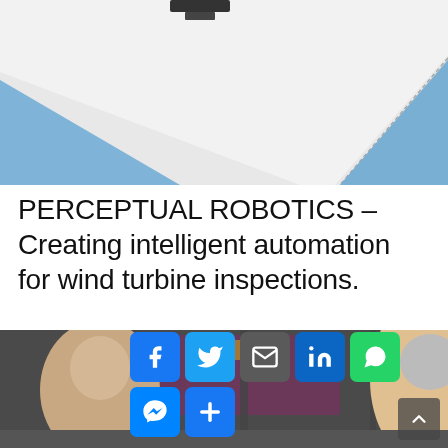[Figure (photo): Close-up photo of a white wind turbine blade against a clear blue sky, viewed from below at an angle, showing the blade edge seam detail.]
PERCEPTUAL ROBOTICS – Creating intelligent automation for wind turbine inspections.
[Figure (photo): Photo of people at what appears to be an indoor venue or exhibition space with glass walls and a purple/yellow structure in the background. Social media share icons overlaid (Facebook, Twitter, Email, LinkedIn, WhatsApp, Messenger, More).]